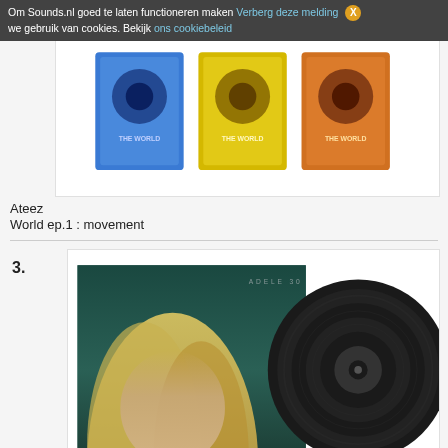Om Sounds.nl goed te laten functioneren maken we gebruik van cookies. Bekijk ons cookiebeleid Verberg deze melding X
[Figure (photo): Ateez album 'The World ep.1 : movement' shown in three colored versions (blue, yellow, orange) as box sets]
Ateez
World ep.1 : movement
3.
[Figure (photo): Adele album '30' shown as vinyl record with album cover featuring Adele with blonde hair on teal/dark green background]